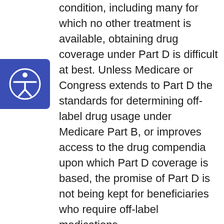[Figure (other): Blue accessibility icon button on left side of page — circular person with raised arms symbol inside a blue rounded rectangle]
condition, including many for which no other treatment is available, obtaining drug coverage under Part D is difficult at best. Unless Medicare or Congress extends to Part D the standards for determining off-label drug usage under Medicare Part B, or improves access to the drug compendia upon which Part D coverage is based, the promise of Part D is not being kept for beneficiaries who require off-label medications.
In order to be covered under Part D, drugs must be prescribed for a "medically accepted indication," meaning their use for a particular disease must be approved by the FDA, or if prescribed "off-label" (for a use other than that approved by the FDA), such use must be supported by one of three compendia